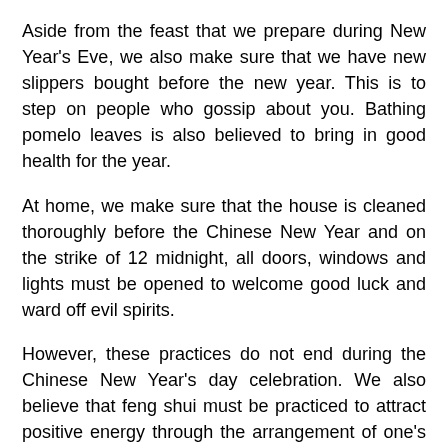Aside from the feast that we prepare during New Year's Eve, we also make sure that we have new slippers bought before the new year. This is to step on people who gossip about you. Bathing pomelo leaves is also believed to bring in good health for the year.
At home, we make sure that the house is cleaned thoroughly before the Chinese New Year and on the strike of 12 midnight, all doors, windows and lights must be opened to welcome good luck and ward off evil spirits.
However, these practices do not end during the Chinese New Year's day celebration. We also believe that feng shui must be practiced to attract positive energy through the arrangement of one's home, type of decorations and even color choice.
We believe that the choice of colors to surround one's environment can effectively enhance the flow of positive energy thus, it is very important to paint our homes with luck.